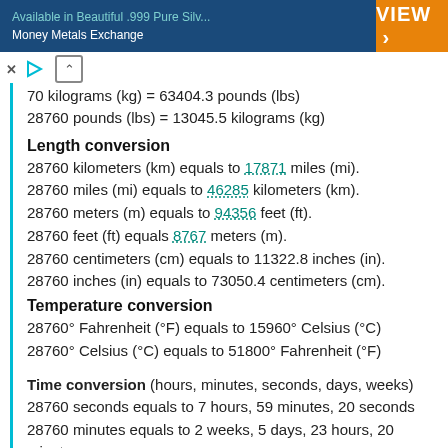Available in Beautiful .999 Pure Silv... Money Metals Exchange | VIEW >
70 kilograms (kg) = 63404.3 pounds (lbs)
28760 pounds (lbs) = 13045.5 kilograms (kg)
Length conversion
28760 kilometers (km) equals to 17871 miles (mi).
28760 miles (mi) equals to 46285 kilometers (km).
28760 meters (m) equals to 94356 feet (ft).
28760 feet (ft) equals 8767 meters (m).
28760 centimeters (cm) equals to 11322.8 inches (in).
28760 inches (in) equals to 73050.4 centimeters (cm).
Temperature conversion
28760° Fahrenheit (°F) equals to 15960° Celsius (°C)
28760° Celsius (°C) equals to 51800° Fahrenheit (°F)
Time conversion
Time conversion (hours, minutes, seconds, days, weeks)
28760 seconds equals to 7 hours, 59 minutes, 20 seconds
28760 minutes equals to 2 weeks, 5 days, 23 hours, 20 minutes